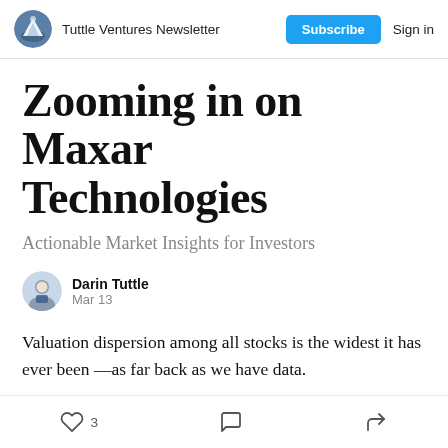Tuttle Ventures Newsletter  Subscribe  Sign in
Zooming in on Maxar Technologies
Actionable Market Insights for Investors
Darin Tuttle
Mar 13
Valuation dispersion among all stocks is the widest it has ever been —as far back as we have data.
3  [comment]  [share]